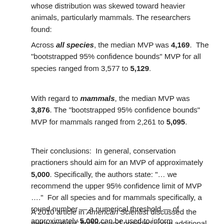whose distribution was skewed toward heavier animals, particularly mammals. The researchers found:
Across all species, the median MVP was 4,169. The “bootstrapped 95% confidence bounds” MVP for all species ranged from 3,577 to 5,129.
With regard to mammals, the median MVP was 3,876. The “bootstrapped 95% confidence bounds” MVP for mammals ranged from 2,261 to 5,095.
Their conclusions: In general, conservation practioners should aim for an MVP of approximately 5,000. Specifically, the authors state: “… we recommend the upper 95% confidence limit of MVP ….” For all species and for mammals specifically, a round number — a numerical threshold — of approximately 5,000 can be used to inform conservation management practices.
A 2010 article in American Scientist discussed the meta-analysis’ findings and provided some additional